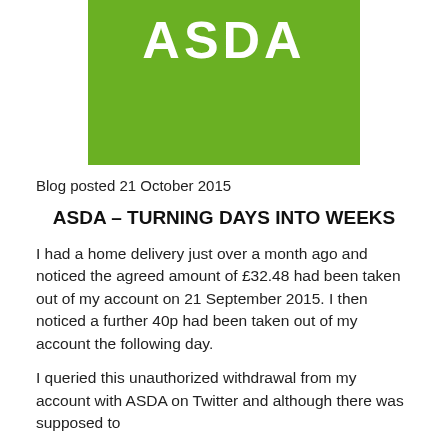[Figure (logo): ASDA logo — white text 'ASDA' on green background]
Blog posted 21 October 2015
ASDA – TURNING DAYS INTO WEEKS
I had a home delivery just over a month ago and noticed the agreed amount of £32.48 had been taken out of my account on 21 September 2015. I then noticed a further 40p had been taken out of my account the following day.
I queried this unauthorized withdrawal from my account with ASDA on Twitter and although there was supposed to